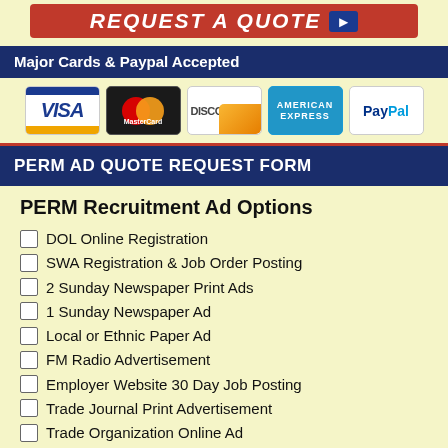[Figure (infographic): REQUEST A QUOTE banner button in red with arrow icon]
Major Cards & Paypal Accepted
[Figure (infographic): Payment method logos: Visa, MasterCard, Discover, American Express, PayPal]
PERM AD QUOTE REQUEST FORM
PERM Recruitment Ad Options
DOL Online Registration
SWA Registration & Job Order Posting
2 Sunday Newspaper Print Ads
1 Sunday Newspaper Ad
Local or Ethnic Paper Ad
FM Radio Advertisement
Employer Website 30 Day Job Posting
Trade Journal Print Advertisement
Trade Organization Online Ad
30 Days Online Job Board Posting
14 Days Online Job Board Posting